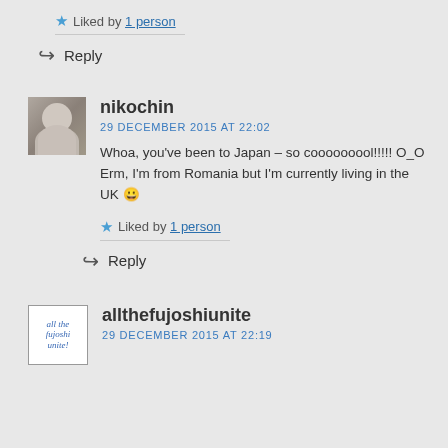Liked by 1 person
Reply
nikochin
29 DECEMBER 2015 AT 22:02
Whoa, you've been to Japan – so cooooooool!!!!! O_O Erm, I'm from Romania but I'm currently living in the UK 😀
Liked by 1 person
Reply
allthefujoshiunite
29 DECEMBER 2015 AT 22:19